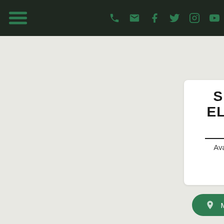Navigation bar with hamburger menu and social icons
SPONSOR ELIGIBILITY FORM
Available Spring 2022
BISHOP'S LETTER
Available Spring 2022
Mass Times & Directions